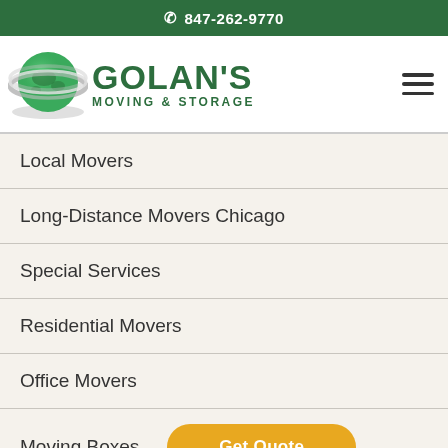847-262-9770
[Figure (logo): Golan's Moving & Storage logo with green globe graphic and company name]
Local Movers
Long-Distance Movers Chicago
Special Services
Residential Movers
Office Movers
Moving Boxes
Get Quote